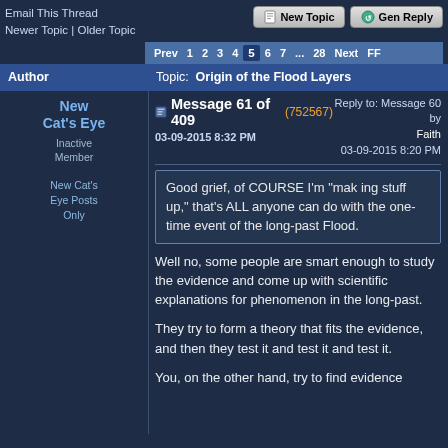Email This Thread
Newer Topic | Older Topic
New Topic | Gen Reply
Prev 1 2 3 4 5 6 7 ... 28 Next FF
| Author | Topic: Origin of the Flood Layers |
| --- | --- |
| New Cat's Eye
Inactive Member

New Cat's Eye Posts Only | Message 61 of 409 (752567)
03-09-2015 8:32 PM
Reply to: Message 60 by Faith
03-09-2015 8:20 PM

Good grief, of COURSE I'm "mak ing stuff up," that's ALL anyone can do with the one-time event of the long-past Flood.

Well no, some people are smart enough to study the evidence and come up with scientific explanations for phenomenon in the long-past.

They try to form a theory that fits the evidence, and then they test it and test it and test it.

You, on the other hand, try to find evidence |